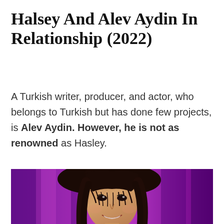Halsey And Alev Aydin In Relationship (2022)
A Turkish writer, producer, and actor, who belongs to Turkish but has done few projects, is Alev Aydin. However, he is not as renowned as Hasley.
[Figure (photo): A woman with dark bangs and long dark hair smiling in front of a purple/magenta curtain background, identified as Halsey.]